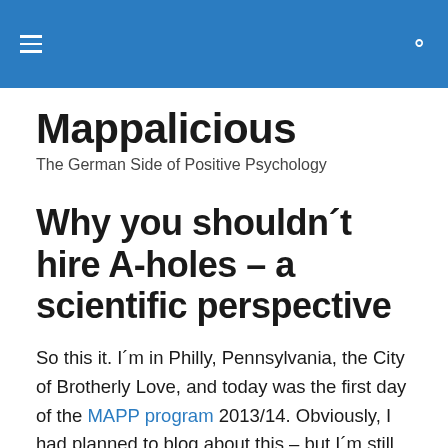☰  🔍
Mappalicious
The German Side of Positive Psychology
Why you shouldn´t hire A-holes – a scientific perspective
So this it. I´m in Philly, Pennsylvania, the City of Brotherly Love, and today was the first day of the MAPP program 2013/14. Obviously, I had planned to blog about this – but I´m still overwhelmed by all these new impressions, locations, and most of all, outstanding people. It actually is kind of weird (at least for me…) to all of sudden talk to or